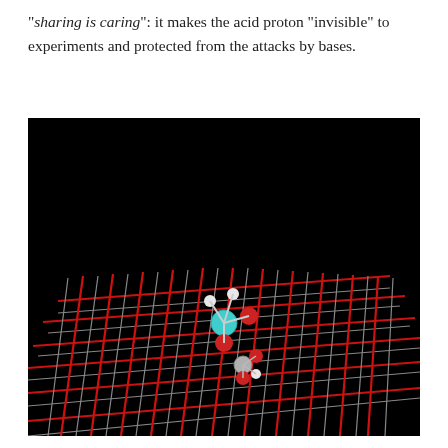"sharing is caring": it makes the acid proton "invisible" to experiments and protected from the attacks by bases.
[Figure (photo): 3D molecular dynamics visualization on a black background showing a ball-and-stick model of a molecule (with a cyan/teal central atom bonded to red oxygen atoms and white hydrogen atoms) above a red and grey grid-like framework structure representing a zeolite or metal-organic framework surface, viewed in perspective.]